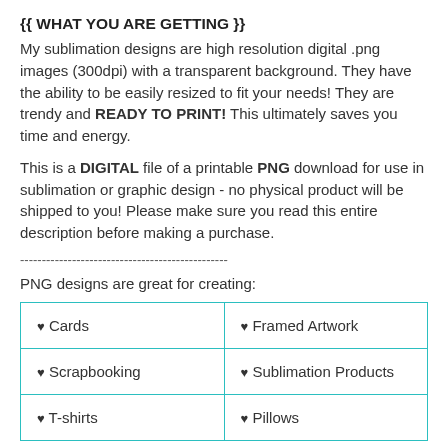{{ WHAT YOU ARE GETTING }}
My sublimation designs are high resolution digital .png images (300dpi) with a transparent background. They have the ability to be easily resized to fit your needs! They are trendy and READY TO PRINT! This ultimately saves you time and energy.
This is a DIGITAL file of a printable PNG download for use in sublimation or graphic design - no physical product will be shipped to you! Please make sure you read this entire description before making a purchase.
------------------------------------------------
PNG designs are great for creating:
| ♥ Cards | ♥ Framed Artwork |
| ♥ Scrapbooking | ♥ Sublimation Products |
| ♥ T-shirts | ♥ Pillows |